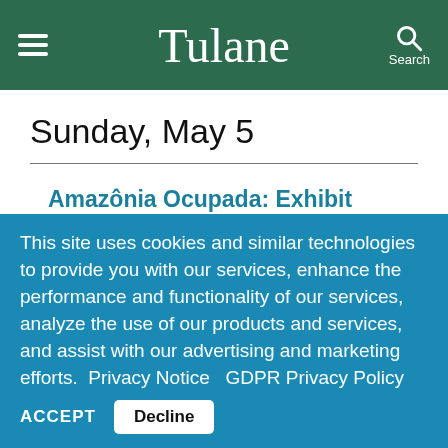Tulane
Sunday, May 5
Amazônia Ocupada: Exhibit Featuring Brazilian Photographer João Farkas at The Latin American...
This site uses cookies and similar technologies to provide you with our services, enhance the performance and functionality of our services, analyze the use of our products and services, and assist with our advertising and marketing efforts. Privacy Notice GDPR Privacy Policy
ACCEPT Decline